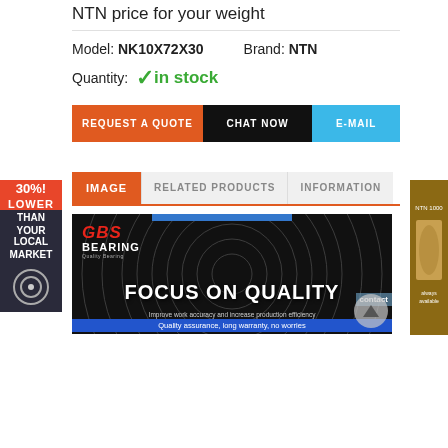NTN price for your weight
Model: NK10X72X30    Brand: NTN
Quantity: ✓ in stock
REQUEST A QUOTE   CHAT NOW   E-MAIL
IMAGE   RELATED PRODUCTS   INFORMATION
[Figure (logo): GBS Bearing logo and promotional banner with 'FOCUS ON QUALITY' text, 'Improve work accuracy and increase production efficiency', 'Quality assurance, long warranty, no worries']